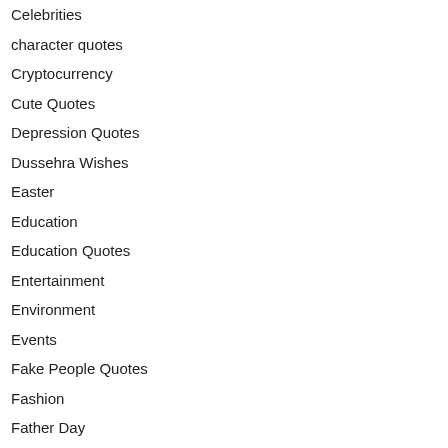Celebrities
character quotes
Cryptocurrency
Cute Quotes
Depression Quotes
Dussehra Wishes
Easter
Education
Education Quotes
Entertainment
Environment
Events
Fake People Quotes
Fashion
Father Day
Featured